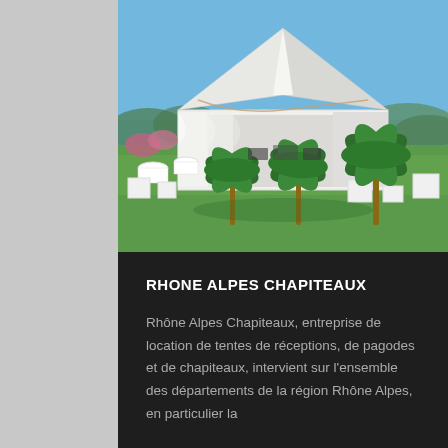[Figure (photo): Outdoor event tent (chapiteau/pagoda style) with a pointed white fabric roof, white draping sides, set up on green grass with white cube planters holding palm trees and other decorative plants. Blue sky visible above.]
RHONE ALPES CHAPITEAUX
Rhône Alpes Chapiteaux, entreprise de location de tentes de réceptions, de pagodes et de chapiteaux, intervient sur l'ensemble des départements de la région Rhône Alpes, en particulier la